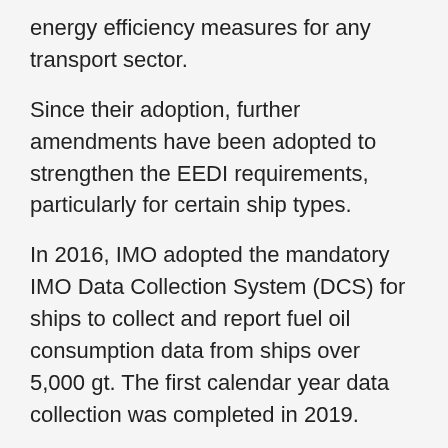energy efficiency measures for any transport sector.
Since their adoption, further amendments have been adopted to strengthen the EEDI requirements, particularly for certain ship types.
In 2016, IMO adopted the mandatory IMO Data Collection System (DCS) for ships to collect and report fuel oil consumption data from ships over 5,000 gt. The first calendar year data collection was completed in 2019.
In April 2018, IMO adopted the Initial Strategy